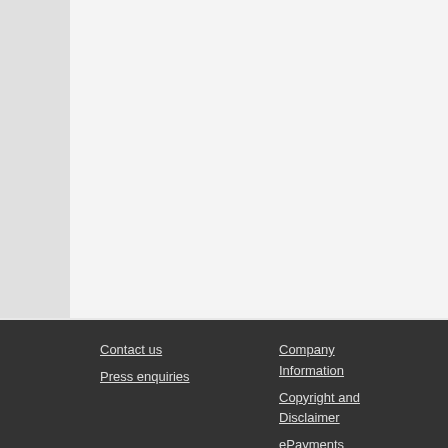[Figure (screenshot): Top portion of a web page showing a left sidebar (grey) and a main content panel (light grey/white), partially cropped UI]
View Item
CORE
Loading suggested articles...
Contact us | Press enquiries | Company Information | Copyright and Disclaimer | ePayments | Academic Registry